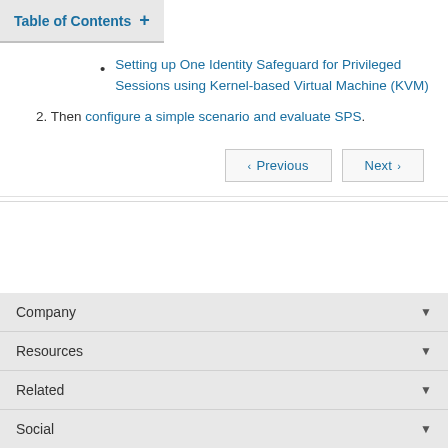Table of Contents +
Setting up One Identity Safeguard for Privileged Sessions using Kernel-based Virtual Machine (KVM)
2. Then configure a simple scenario and evaluate SPS.
< Previous   Next >
Company
Resources
Related
Social